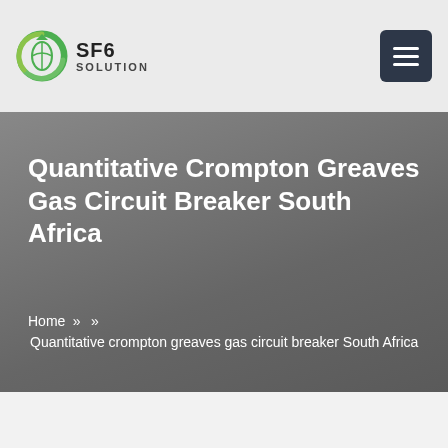SF6 SOLUTION
Quantitative Crompton Greaves Gas Circuit Breaker South Africa
Home » » Quantitative crompton greaves gas circuit breaker South Africa